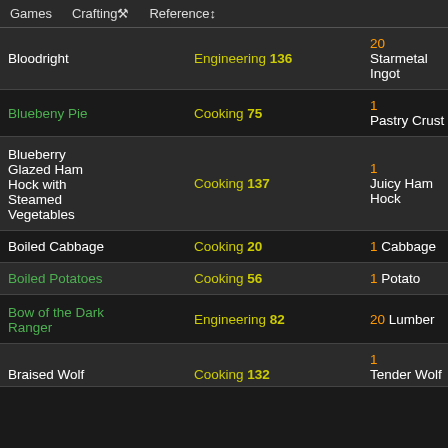Games  Crafting⚒  Reference↕
| Item | Skill | Ingredient 1 | Ingredient 2 |
| --- | --- | --- | --- |
| Bloodright | Engineering 136 | 20 Starmetal Ingot | 15 Wyrdwood Planks |
| Bluebeny Pie | Cooking 75 | 1 Pastry Crust | 1 Blueberry |
| Blueberry Glazed Ham Hock with Steamed Vegetables | Cooking 137 | 1 Juicy Ham Hock | 1 Blueberry |
| Boiled Cabbage | Cooking 20 | 1 Cabbage | 1 Nut |
| Boiled Potatoes | Cooking 56 | 1 Potato | 1 Water |
| Bow of the Dark Ranger | Engineering 82 | 20 Lumber | 15 Sateen |
| Braised Wolf | Cooking 132 | 1 Tender Wolf | Cooking... |